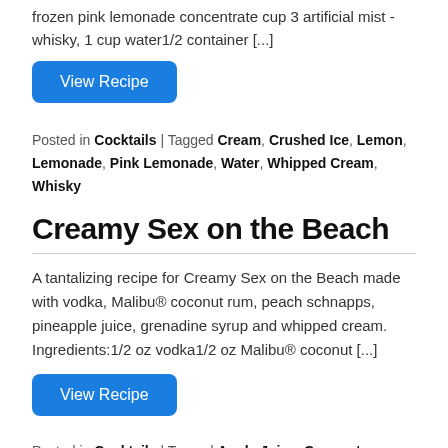frozen pink lemonade concentrate cup 3 artificial mist - whisky, 1 cup water1/2 container [...]
View Recipe
Posted in Cocktails | Tagged Cream, Crushed Ice, Lemon, Lemonade, Pink Lemonade, Water, Whipped Cream, Whisky
Creamy Sex on the Beach
A tantalizing recipe for Creamy Sex on the Beach made with vodka, Malibu® coconut rum, peach schnapps, pineapple juice, grenadine syrup and whipped cream. Ingredients:1/2 oz vodka1/2 oz Malibu® coconut [...]
View Recipe
Posted in Cocktails | Tagged Apple Juice, Coconut, Coconut Rum, Cream, Grenadine Syrup, Ice Cubes, Malibu, Peach, Peach Schnapps, Pineapple, Pineapple Juice, Rum, Schnapps, Vodka,